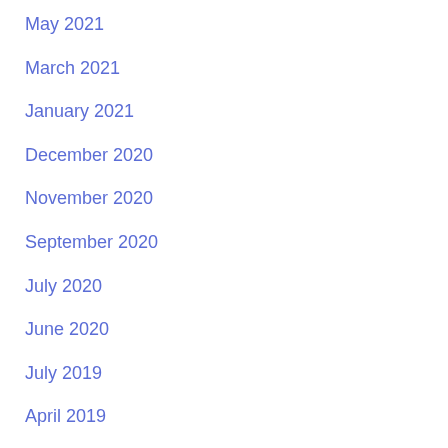May 2021
March 2021
January 2021
December 2020
November 2020
September 2020
July 2020
June 2020
July 2019
April 2019
March 2019
November 2018
July 2018
May 2018